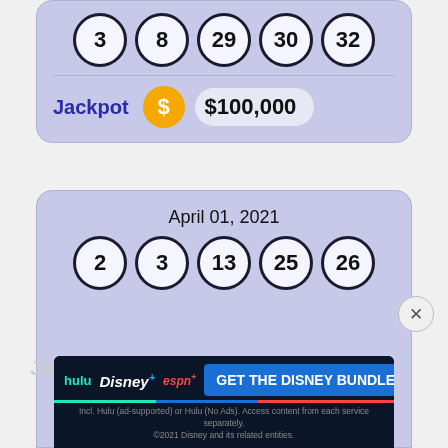[Figure (other): Lottery card showing numbers 3, 8, 29, 30, 32 with Jackpot $100,000]
[Figure (other): Lottery card for April 01, 2021 showing numbers 2, 3, 13, 25, 26 with partially visible Jackpot and Disney Bundle advertisement banner]